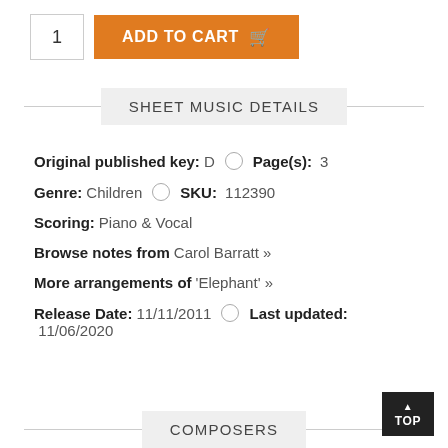[Figure (other): Quantity input box showing '1' and orange 'ADD TO CART' button with cart icon]
SHEET MUSIC DETAILS
Original published key: D   Page(s): 3
Genre: Children   SKU: 112390
Scoring: Piano & Vocal
Browse notes from Carol Barratt »
More arrangements of 'Elephant' »
Release Date: 11/11/2011   Last updated: 11/06/2020
COMPOSERS